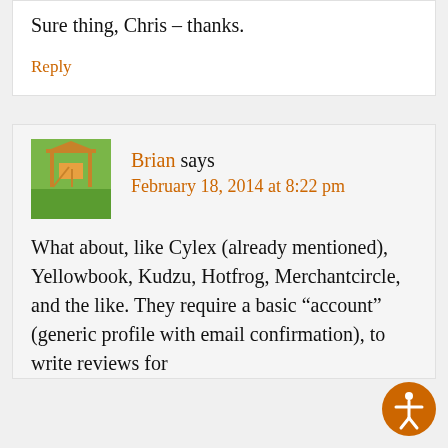Sure thing, Chris – thanks.
Reply
Brian says
February 18, 2014 at 8:22 pm
What about, like Cylex (already mentioned), Yellowbook, Kudzu, Hotfrog, Merchantcircle, and the like. They require a basic “account” (generic profile with email confirmation), to write reviews for